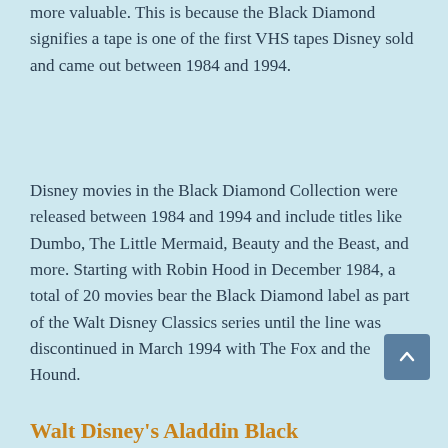more valuable. This is because the Black Diamond signifies a tape is one of the first VHS tapes Disney sold and came out between 1984 and 1994.
Disney movies in the Black Diamond Collection were released between 1984 and 1994 and include titles like Dumbo, The Little Mermaid, Beauty and the Beast, and more. Starting with Robin Hood in December 1984, a total of 20 movies bear the Black Diamond label as part of the Walt Disney Classics series until the line was discontinued in March 1994 with The Fox and the Hound.
Walt Disney's Aladdin Black